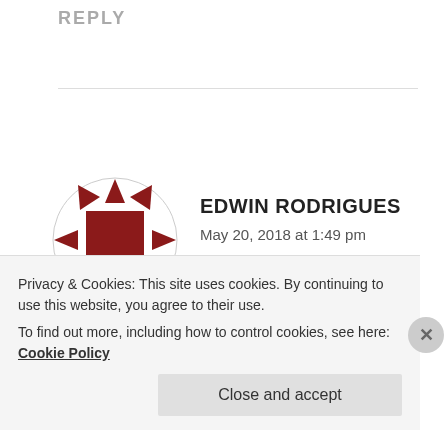REPLY
[Figure (illustration): Avatar/profile icon for Edwin Rodrigues — a decorative quilt-style circular icon with dark red/maroon square center and arrow-like geometric shapes radiating outward on white background.]
EDWIN RODRIGUES
May 20, 2018 at 1:49 pm
people need to stop eating meat ( not eggs). It’s a waste of energy storing dead carcass and provides
Privacy & Cookies: This site uses cookies. By continuing to use this website, you agree to their use.
To find out more, including how to control cookies, see here: Cookie Policy
Close and accept